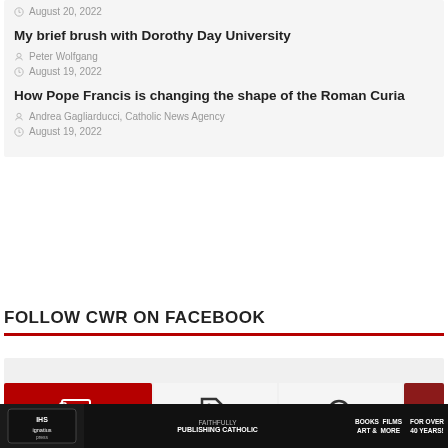August 20, 2022
My brief brush with Dorothy Day University
Peter Wolfgang
August 19, 2022
How Pope Francis is changing the shape of the Roman Curia
Andrea Gagliarducci, Catholic News Agency
August 19, 2022
FOLLOW CWR ON FACEBOOK
[Figure (other): Facebook widget placeholder area]
[Figure (other): Bottom advertisement banner for Ignatius Press — FAITHFULLY PUBLISHING CATHOLIC, BOOKS FILMS ART & MORE, FOR OVER 40 YEARS!]
[Figure (other): Red icon block and tag icon blocks at bottom of page]